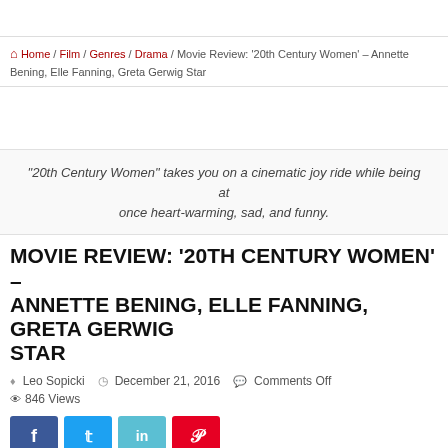Home / Film / Genres / Drama / Movie Review: ‘20th Century Women’ – Annette Bening, Elle Fanning, Greta Gerwig Star
"20th Century Women" takes you on a cinematic joy ride while being at once heart-warming, sad, and funny.
MOVIE REVIEW: ‘20TH CENTURY WOMEN’ – ANNETTE BENING, ELLE FANNING, GRETA GERWIG STAR
Leo Sopicki   December 21, 2016   Comments Off
846 Views
[Figure (other): Social sharing buttons: Facebook, Twitter, LinkedIn, Pinterest]
When I first read about 20th Century Women my initial reaction...